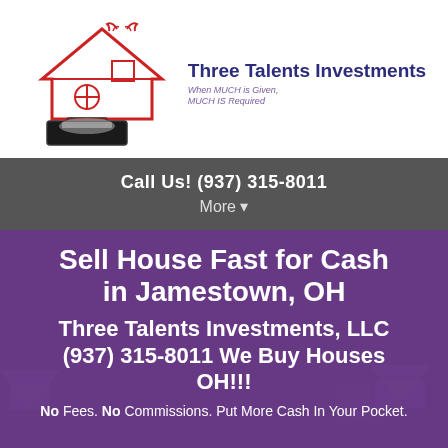[Figure (logo): Three Talents Investments logo with house outline in red, briefcase with money, and company name with tagline 'When MUCH is Given, MUCH IS Required']
Call Us! (937) 315-8011
More ▾
Sell House Fast for Cash in Jamestown, OH
Three Talents Investments, LLC (937) 315-8011 We Buy Houses OH!!!
No Fees. No Commissions. Put More Cash In Your Pocket.